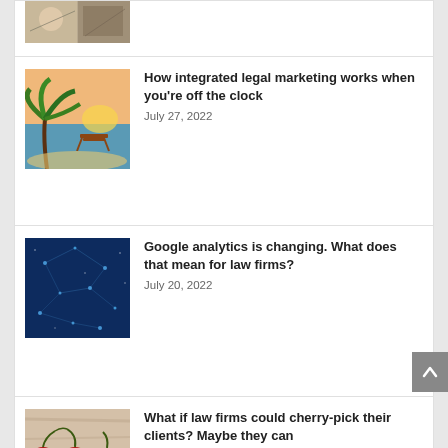[Figure (photo): Partial view of a travel/activity collage image, cropped at top]
How integrated legal marketing works when you're off the clock
July 27, 2022
[Figure (photo): Beach scene with palm tree, chair, and ocean at sunset]
Google analytics is changing. What does that mean for law firms?
July 20, 2022
[Figure (photo): Dark blue night sky with stars/network pattern]
What if law firms could cherry-pick their clients? Maybe they can
July 6, 2022
[Figure (photo): Row of red cherries on a wooden surface]